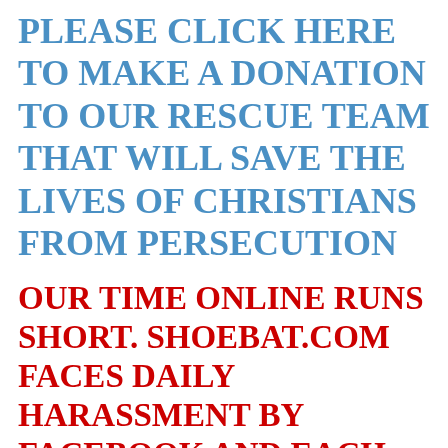PLEASE CLICK HERE TO MAKE A DONATION TO OUR RESCUE TEAM THAT WILL SAVE THE LIVES OF CHRISTIANS FROM PERSECUTION
OUR TIME ONLINE RUNS SHORT. SHOEBAT.COM FACES DAILY HARASSMENT BY FACEBOOK AND EACH TIME IT IS A DIFFERENT EXCUSE. IT IS BEST TO REACH US BY EITHER GOING DIRECTLY TO SHOEBAT.COM OR THROUGH OUR NEWSLETTER. CLICK HERE TO